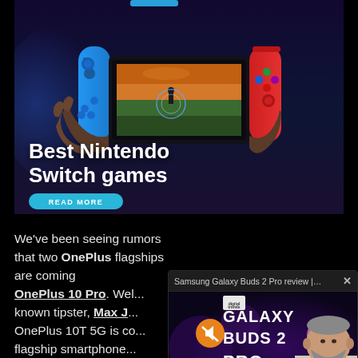[Figure (screenshot): Nintendo Switch gaming handheld console advertisement banner showing hands holding a Nintendo Switch with a game running on screen. Text 'Best Nintendo Switch games' in white bold font with a teal 'READ MORE' button.]
We've been seeing rumors that two OnePlus flagships are coming to the US, including the OnePlus 10 Pro. Well, according to well-known tipster, Max J..., the OnePlus 10T 5G is coming as a major flagship smartphone... launch in 2022.
[Figure (screenshot): Popup video overlay for 'Samsung Galaxy Buds 2 Pro review | Gr...' showing Galaxy Buds 2 Pro branding in white text on purple background with a man holding earbuds, and a muted speaker icon.]